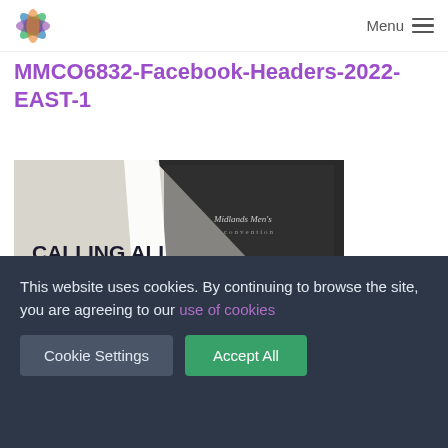Menu
MMCO6832-Facebook-Headers-2022-EAST-1
[Figure (illustration): Midlands Men's Convention event banner. White and dark background with diagonal split. Text reads: CALLING ALL MEN EVERYWHERE, GROWING AS MEN OF PRAYER AND MISSION, EAST, SATURDAY 5 NOV 2022 • 10am–4.30pm, Cornerstone Church, Nottingham]
This website uses cookies. By continuing to browse the site, you are agreeing to our use of cookies
Cookie Settings  Accept All